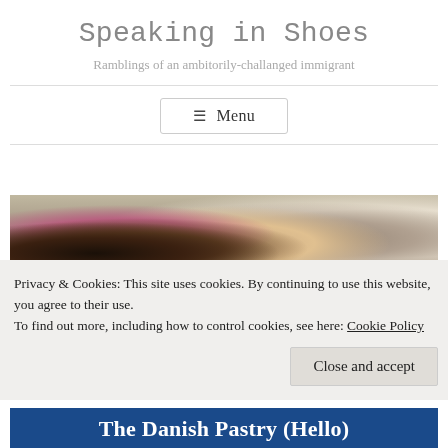Speaking in Shoes
Ramblings of an ambitorily-challanged immigrant
≡ Menu
[Figure (photo): Overhead photo of a pile of shoes on a wooden floor, including black, pink, and brown shoes, with a curtain in the background.]
Privacy & Cookies: This site uses cookies. By continuing to use this website, you agree to their use.
To find out more, including how to control cookies, see here: Cookie Policy
Close and accept
The Danish Pastry (Hello)